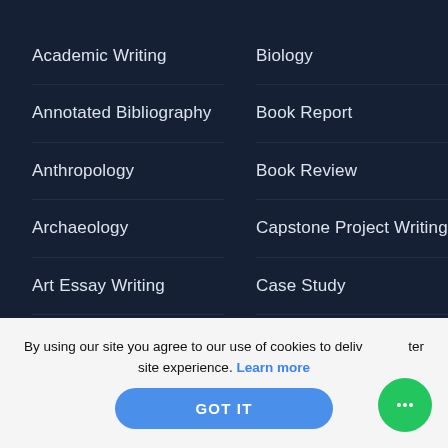Academic Writing
Annotated Bibliography
Anthropology
Archaeology
Art Essay Writing
Assignment
College Writing
Coursework
Biology
Book Report
Book Review
Capstone Project Writing
Case Study
College Paper
Lab Report
Marketing
By using our site you agree to our use of cookies to deliver a better site experience. Learn more
GOT IT